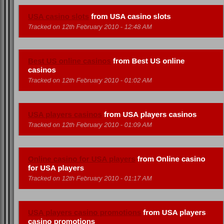USA casino slots from USA casino slots
Tracked on 12th February 2010 - 12:48 AM
Best US online casinos from Best US online casinos
Tracked on 12th February 2010 - 01:02 AM
USA players casinos from USA players casinos
Tracked on 12th February 2010 - 01:09 AM
Online casino for USA players from Online casino for USA players
Tracked on 12th February 2010 - 01:17 AM
USA players casino promotions from USA players casino promotions
Tracked on 12th February 2010 - 01:36 AM
USA casino free bonus from USA casino free bonus
Tracked on 12th February 2010 - 01:45 AM